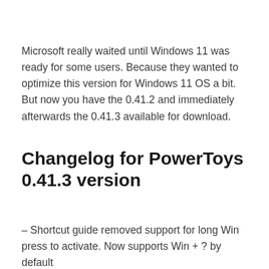Microsoft really waited until Windows 11 was ready for some users. Because they wanted to optimize this version for Windows 11 OS a bit. But now you have the 0.41.2 and immediately afterwards the 0.41.3 available for download.
Changelog for PowerToys 0.41.3 version
– Shortcut guide removed support for long Win press to activate. Now supports Win + ? by default